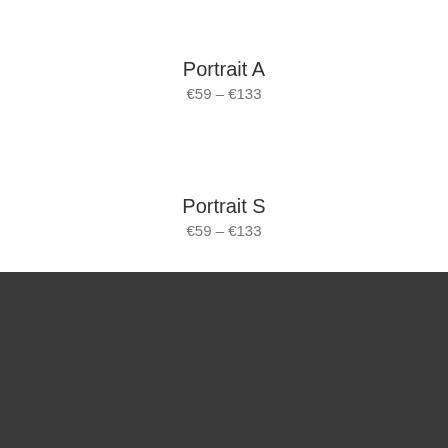Portrait A
€59 – €133
Portrait S
€59 – €133
We use cookies on our website to give you the most relevant experience by remembering your preferences and repeat visits. By clicking "Accept", you consent to the use of ALL the cookies.
Cookie Settings
Accept